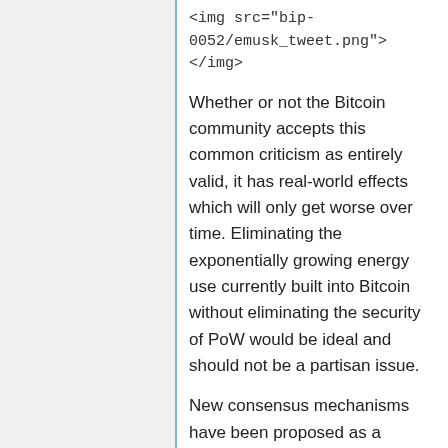<img src="bip-0052/emusk_tweet.png"> </img>
Whether or not the Bitcoin community accepts this common criticism as entirely valid, it has real-world effects which will only get worse over time. Eliminating the exponentially growing energy use currently built into Bitcoin without eliminating the security of PoW would be ideal and should not be a partisan issue.
New consensus mechanisms have been proposed as a means of securing cryptocurrencies whilst reducing energy cost, such as various forms of Proof of Stake and Proof of Space-Time. While many of these alternative mechanisms offer compelling guarantees, they generally require new security assumptions, which have not been